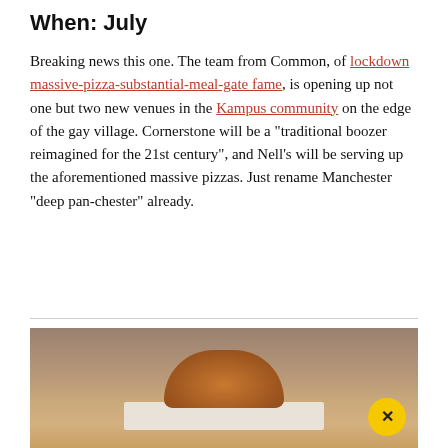When: July
Breaking news this one. The team from Common, of lockdown massive-pizza-substantial-meal-gate fame, is opening up not one but two new venues in the Kampus community on the edge of the gay village. Cornerstone will be a "traditional boozer reimagined for the 21st century", and Nell's will be serving up the aforementioned massive pizzas. Just rename Manchester "deep pan-chester" already.
[Figure (photo): A golden-brown bun or bread roll resting on a white surface, photographed from above on a wooden table background.]